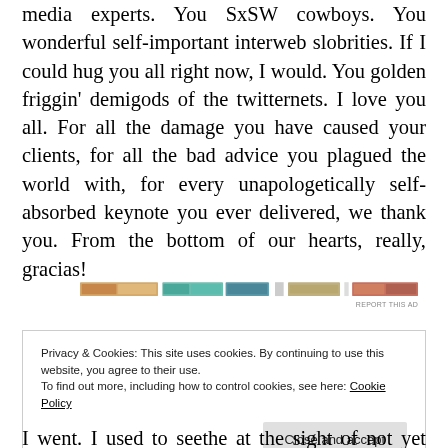media experts. You SxSW cowboys. You wonderful self-important interweb slobrities. If I could hug you all right now, I would. You golden friggin' demigods of the twitternets. I love you all. For all the damage you have caused your clients, for all the bad advice you plagued the world with, for every unapologetically self-absorbed keynote you ever delivered, we thank you. From the bottom of our hearts, really, gracias!
[Figure (other): A horizontal advertisement banner with colorful image segments and 'REPORT THIS AD' label in bottom right]
Privacy & Cookies: This site uses cookies. By continuing to use this website, you agree to their use.
To find out more, including how to control cookies, see here: Cookie Policy
I went. I used to seethe at the sight of not yet congealed